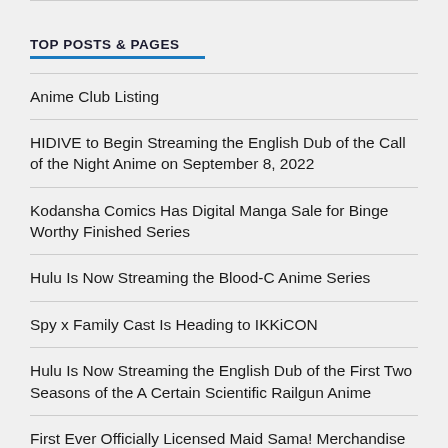TOP POSTS & PAGES
Anime Club Listing
HIDIVE to Begin Streaming the English Dub of the Call of the Night Anime on September 8, 2022
Kodansha Comics Has Digital Manga Sale for Binge Worthy Finished Series
Hulu Is Now Streaming the Blood-C Anime Series
Spy x Family Cast Is Heading to IKKiCON
Hulu Is Now Streaming the English Dub of the First Two Seasons of the A Certain Scientific Railgun Anime
First Ever Officially Licensed Maid Sama! Merchandise Is